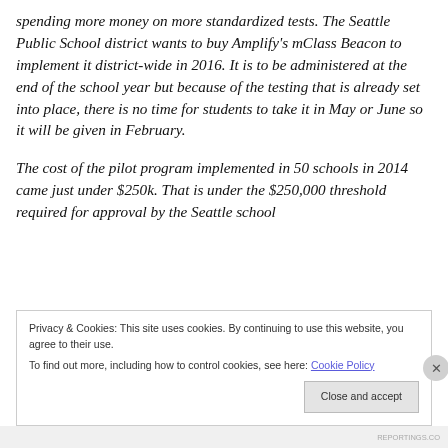spending more money on more standardized tests. The Seattle Public School district wants to buy Amplify's mClass Beacon to implement it district-wide in 2016. It is to be administered at the end of the school year but because of the testing that is already set into place, there is no time for students to take it in May or June so it will be given in February.
The cost of the pilot program implemented in 50 schools in 2014 came just under $250k. That is under the $250,000 threshold required for approval by the Seattle school
Privacy & Cookies: This site uses cookies. By continuing to use this website, you agree to their use.
To find out more, including how to control cookies, see here: Cookie Policy